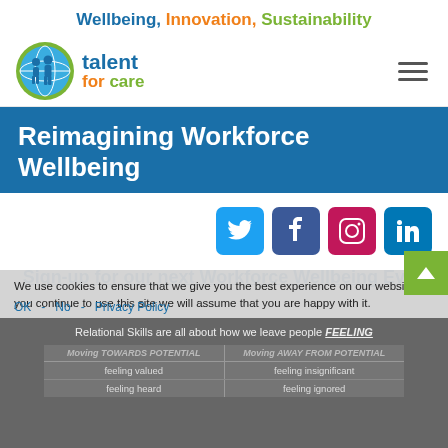Wellbeing, Innovation, Sustainability
[Figure (logo): Talent for Care logo: globe with figures, text 'talent for care']
Reimagining Workforce Wellbeing
[Figure (infographic): Social media icons: Twitter (blue), Facebook (dark blue), Instagram (pink/red), LinkedIn (blue)]
Sign-up for our next Workforce Wellbeing Event
We use cookies to ensure that we give you the best experience on our website. If you continue to use this site we will assume that you are happy with it.
OK  No  Privacy Policy
[Figure (screenshot): Partial slide showing 'Relational Skills are all about how we leave people FEELING' with a table showing Moving TOWARDS POTENTIAL vs Moving AWAY FROM POTENTIAL, with rows: feeling valued / feeling insignificant, feeling heard / feeling ignored]